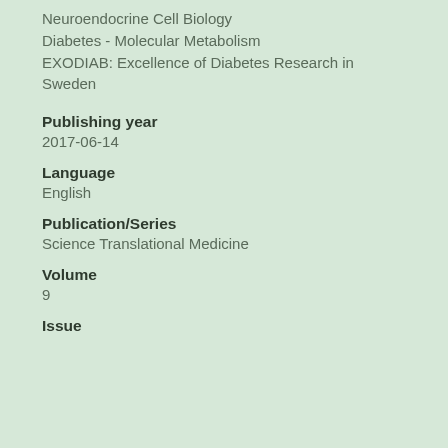Neuroendocrine Cell Biology
Diabetes - Molecular Metabolism
EXODIAB: Excellence of Diabetes Research in Sweden
Publishing year
2017-06-14
Language
English
Publication/Series
Science Translational Medicine
Volume
9
Issue